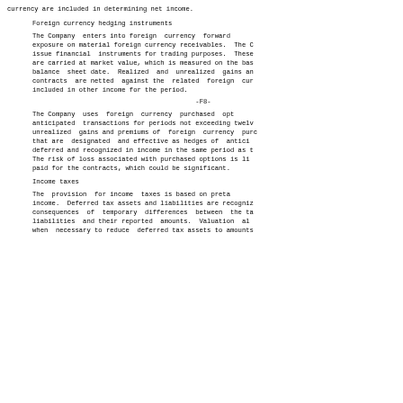currency are included in determining net income.
Foreign currency hedging instruments
The Company enters into foreign currency forward exposure on material foreign currency receivables. The C issue financial instruments for trading purposes. These are carried at market value, which is measured on the bas balance sheet date. Realized and unrealized gains an contracts are netted against the related foreign cur included in other income for the period.
-F8-
The Company uses foreign currency purchased opt anticipated transactions for periods not exceeding twelv unrealized gains and premiums of foreign currency purc that are designated and effective as hedges of antici deferred and recognized in income in the same period as t The risk of loss associated with purchased options is li paid for the contracts, which could be significant.
Income taxes
The provision for income taxes is based on preta income. Deferred tax assets and liabilities are recogniz consequences of temporary differences between the ta liabilities and their reported amounts. Valuation al when necessary to reduce deferred tax assets to amounts